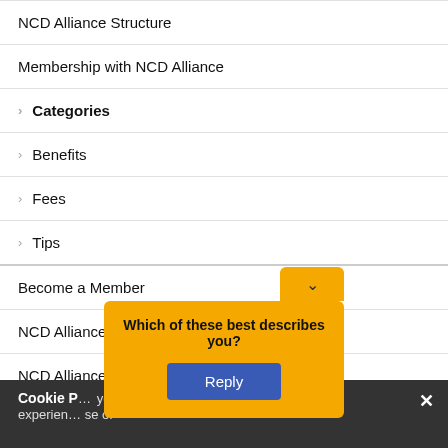NCD Alliance Structure
Membership with NCD Alliance
Categories
Benefits
Fees
Tips
Become a Member
NCD Alliance Partners
NCD Alliance Network
Cookie P... your experience... se of cookies.
Which of these best describes you?
Reply